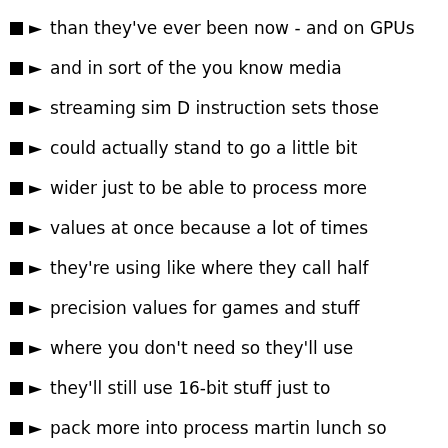than they've ever been now - and on GPUs
and in sort of the you know media
streaming sim D instruction sets those
could actually stand to go a little bit
wider just to be able to process more
values at once because a lot of times
they're using like where they call half
precision values for games and stuff
where you don't need so they'll use
they'll still use 16-bit stuff just to
pack more into process martin lunch so